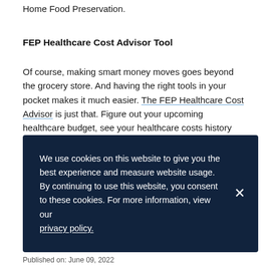Home Food Preservation.
FEP Healthcare Cost Advisor Tool
Of course, making smart money moves goes beyond the grocery store. And having the right tools in your pocket makes it much easier. The FEP Healthcare Cost Advisor is just that. Figure out your upcoming healthcare budget, see your healthcare costs history and get potential out-of-pocket estimates for expected life changes and much more. You must have been enrolled in the Service Benefit Plan for
We use cookies on this website to give you the best experience and measure website usage. By continuing to use this website, you consent to these cookies. For more information, view our privacy policy.
Published on: June 09, 2022